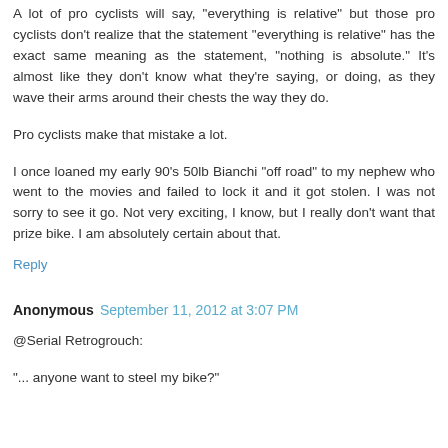A lot of pro cyclists will say, "everything is relative" but those pro cyclists don't realize that the statement "everything is relative" has the exact same meaning as the statement, "nothing is absolute." It's almost like they don't know what they're saying, or doing, as they wave their arms around their chests the way they do.
Pro cyclists make that mistake a lot.
I once loaned my early 90's 50lb Bianchi "off road" to my nephew who went to the movies and failed to lock it and it got stolen. I was not sorry to see it go. Not very exciting, I know, but I really don't want that prize bike. I am absolutely certain about that.
Reply
Anonymous  September 11, 2012 at 3:07 PM
@Serial Retrogrouch:
"... anyone want to steel my bike?"